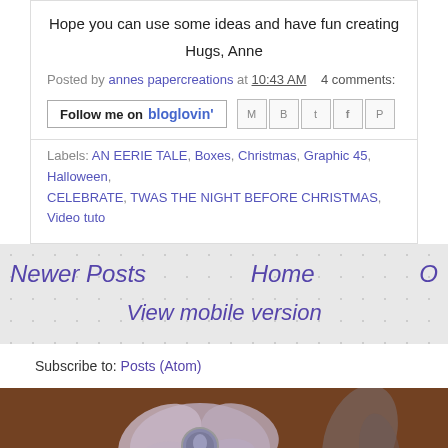Hope you can use some ideas and have fun creating
Hugs, Anne
Posted by annes papercreations at 10:43 AM    4 comments:
[Figure (screenshot): Follow me on bloglovin button and social share icons (email, blogger, twitter, facebook, pinterest)]
Labels: AN EERIE TALE, Boxes, Christmas, Graphic 45, Halloween, CELEBRATE, TWAS THE NIGHT BEFORE CHRISTMAS, Video tuto
Newer Posts
Home
O
View mobile version
Subscribe to: Posts (Atom)
[Figure (photo): Close-up photo of a decorative fabric flower with a cameo brooch center, on a dark brown wooden background. Text 'Powere' visible at bottom right.]